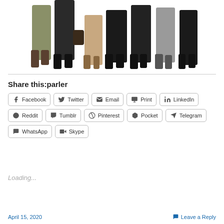[Figure (photo): Group of business people shown from torso/waist down, standing together, cropped at top]
Share this:parler
Facebook  Twitter  Email  Print  LinkedIn  Reddit  Tumblr  Pinterest  Pocket  Telegram  WhatsApp  Skype
Loading...
April 15, 2020   Leave a Reply